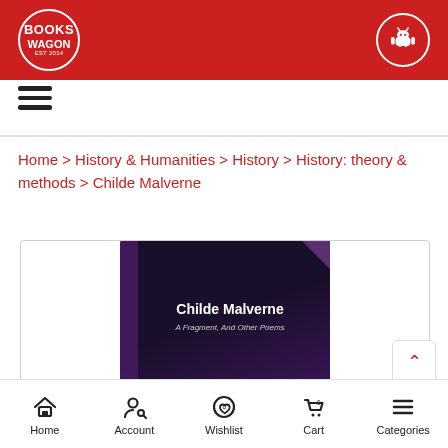Books Wagon
Home > History & Humanities > History > History: theory & methods > Childe Malverne
[Figure (photo): Book cover of 'Childe Malverne: A Fragment, And Other Poems' showing a dark purple/navy cover with white title text]
Home | Account | Wishlist | Cart | Categories